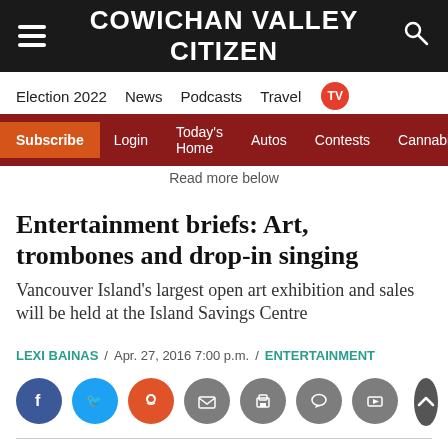COWICHAN VALLEY CITIZEN
Election 2022  News  Podcasts  Travel  TV
Subscribe  Login  Today's Home  Autos  Contests  Cannabis
Read more below
Entertainment briefs: Art, trombones and drop-in singing
Vancouver Island's largest open art exhibition and sales will be held at the Island Savings Centre
LEXI BAINAS  /  Apr. 27, 2016 7:00 p.m.  /  ENTERTAINMENT